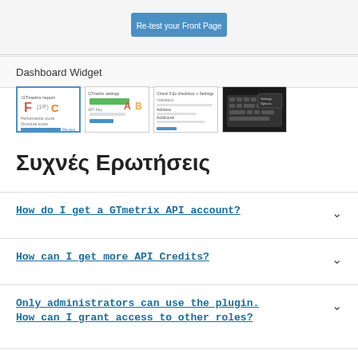[Figure (screenshot): WordPress plugin UI showing a 'Re-test your Front Page' button]
Dashboard Widget
[Figure (screenshot): Four thumbnail screenshots of the GTmetrix WordPress plugin dashboard widget showing grades (F, C), A/B grades, settings form, and keyboard image]
Συχνές Ερωτήσεις
How do I get a GTmetrix API account?
How can I get more API Credits?
Only administrators can use the plugin. How can I grant access to other roles?
AsyncJavaScript Problems?